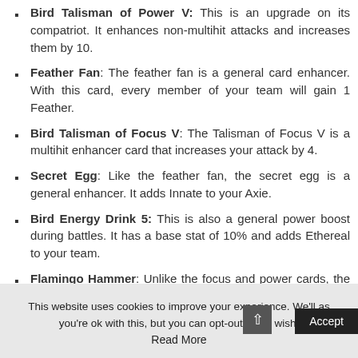Bird Talisman of Power V: This is an upgrade on its compatriot. It enhances non-multihit attacks and increases them by 10.
Feather Fan: The feather fan is a general card enhancer. With this card, every member of your team will gain 1 Feather.
Bird Talisman of Focus V: The Talisman of Focus V is a multihit enhancer card that increases your attack by 4.
Secret Egg: Like the feather fan, the secret egg is a general enhancer. It adds Innate to your Axie.
Bird Energy Drink 5: This is also a general power boost during battles. It has a base stat of 10% and adds Ethereal to your team.
Flamingo Hammer: Unlike the focus and power cards, the flamingo hammers enhance all forms of attacks. It will
This website uses cookies to improve your experience. We'll as you're ok with this, but you can opt-out if you wish. Accept Read More